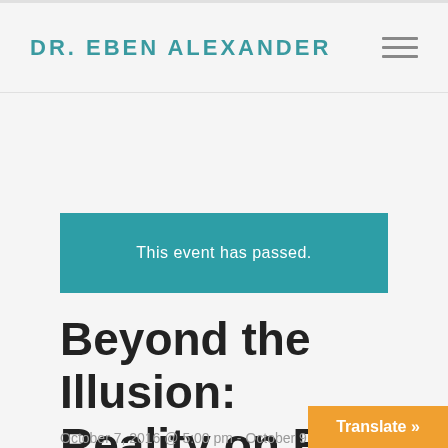DR. EBEN ALEXANDER
This event has passed.
Beyond the Illusion: Reality on Both Sides of the Veil
October 7, 2016 @ 5:00 pm - October 9, 20…